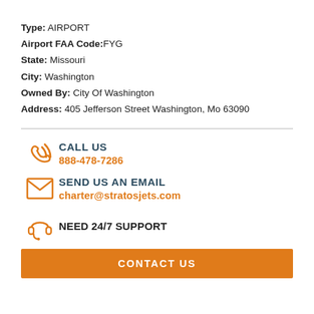Type: AIRPORT
Airport FAA Code: FYG
State: Missouri
City: Washington
Owned By: City Of Washington
Address: 405 Jefferson Street Washington, Mo 63090
CALL US
888-478-7286
SEND US AN EMAIL
charter@stratosjets.com
NEED 24/7 SUPPORT
CONTACT US